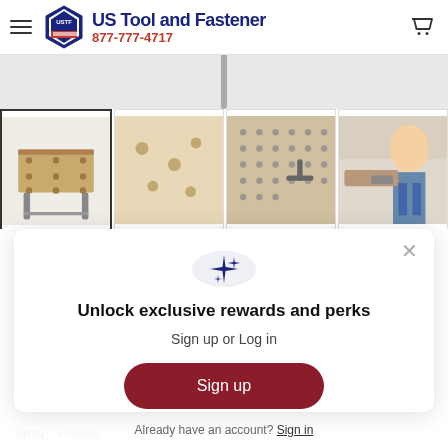[Figure (screenshot): US Tool and Fastener website header with hamburger menu, USTF hexagon logo, brand name 'US Tool and Fastener', phone number 877-777-4717, and shopping cart icon]
[Figure (screenshot): Website product image strip showing a partial product image on top and four product thumbnails below: a work table, pegboard surface, pegboard with tools, and person using a tool]
[Figure (screenshot): Modal popup overlay with sparkle icon circle, title 'Unlock exclusive rewards and perks', subtitle 'Sign up or Log in', red 'Sign up' button, and 'Already have an account? Sign in' text]
MPN: 495888